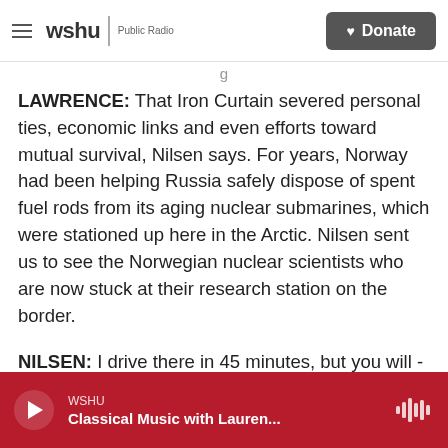wshu | Public Radio   Donate
LAWRENCE: That Iron Curtain severed personal ties, economic links and even efforts toward mutual survival, Nilsen says. For years, Norway had been helping Russia safely dispose of spent fuel rods from its aging nuclear submarines, which were stationed up here in the Arctic. Nilsen sent us to see the Norwegian nuclear scientists who are now stuck at their research station on the border.
NILSEN: I drive there in 45 minutes, but you will - you should spend an hour on the road.
WSHU  Classical Music with Lauren...